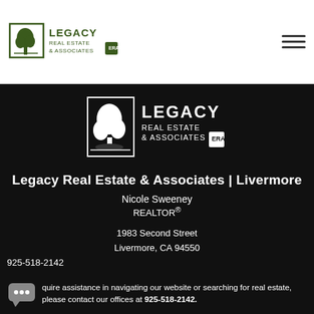[Figure (logo): Legacy Real Estate & Associates logo with tree icon, top-left header area]
[Figure (logo): Legacy Real Estate & Associates large white logo with ERA badge on dark background]
Legacy Real Estate & Associates | Livermore
Nicole Sweeney
REALTOR®
1983 Second Street
Livermore, CA 94550
925-518-2142
[Figure (illustration): Chat bubble icon with three dots]
quire assistance in navigating our website or searching for real estate, please contact our offices at 925-518-2142.